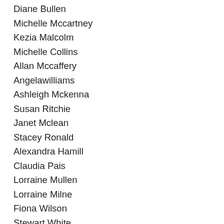Diane Bullen
Michelle Mccartney
Kezia Malcolm
Michelle Collins
Allan Mccaffery
Angelawilliams
Ashleigh Mckenna
Susan Ritchie
Janet Mclean
Stacey Ronald
Alexandra Hamill
Claudia Pais
Lorraine Mullen
Lorraine Milne
Fiona Wilson
Stewart White
Amanda Mcconnachie
Christine Mclemon
Susan Frier
May Lynch